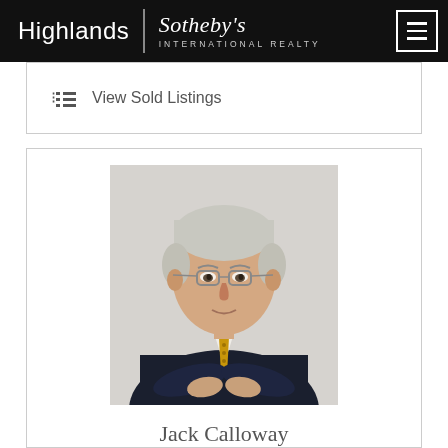Highlands | Sotheby's INTERNATIONAL REALTY
View Sold Listings
[Figure (photo): Professional headshot of Jack Calloway, an older gentleman with silver hair and glasses, wearing a dark navy suit, white dress shirt, and gold patterned tie, with arms crossed, against a light gray background.]
Jack Calloway